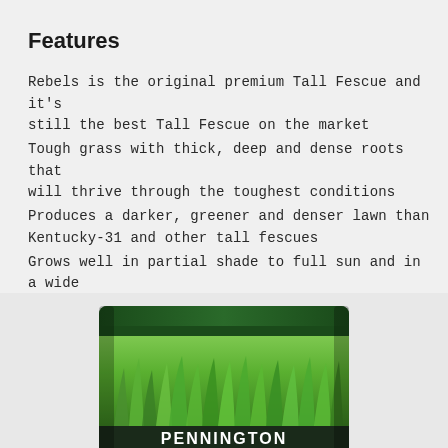Features
Rebels is the original premium Tall Fescue and it's still the best Tall Fescue on the market
Tough grass with thick, deep and dense roots that will thrive through the toughest conditions
Produces a darker, greener and denser lawn than Kentucky-31 and other tall fescues
Grows well in partial shade to full sun and in a wide range of soils
Requires 4 to 6 hours of sunlight
[Figure (photo): Pennington grass seed bag with green grass image on front, partially shown at bottom of page]